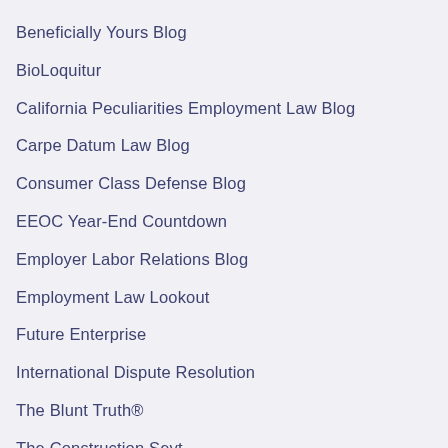Beneficially Yours Blog
BioLoquitur
California Peculiarities Employment Law Blog
Carpe Datum Law Blog
Consumer Class Defense Blog
EEOC Year-End Countdown
Employer Labor Relations Blog
Employment Law Lookout
Future Enterprise
International Dispute Resolution
The Blunt Truth®
The Construction Seyt